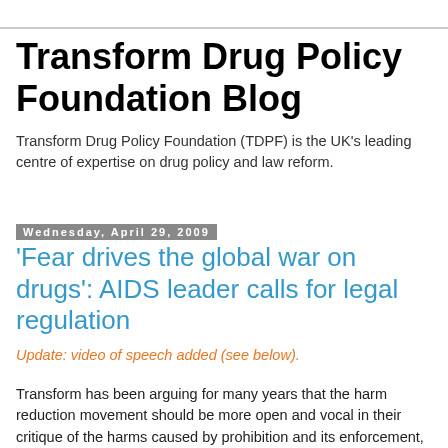Transform Drug Policy Foundation Blog
Transform Drug Policy Foundation (TDPF) is the UK's leading centre of expertise on drug policy and law reform.
Wednesday, April 29, 2009
'Fear drives the global war on drugs': AIDS leader calls for legal regulation
Update: video of speech added (see below).
Transform has been arguing for many years that the harm reduction movement should be more open and vocal in their critique of the harms caused by prohibition and its enforcement, and more actively engage with the the debate around ending prohibition and replacing it with a system of legal regulation. Senior AIDS activists are now doing just